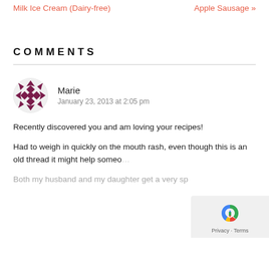Milk Ice Cream (Dairy-free)
Apple Sausage »
COMMENTS
Marie
January 23, 2013 at 2:05 pm
Recently discovered you and am loving your recipes!
Had to weigh in quickly on the mouth rash, even though this is an old thread it might help someo…
Both my husband and my daughter get a very sp…